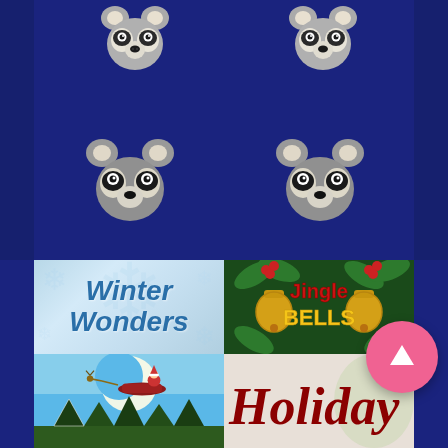[Figure (illustration): Dark navy blue background with four raccoon face illustrations arranged in a 2x2 grid pattern - two at the top and two in the middle of the upper section]
[Figure (illustration): Winter Wonders text logo on a light blue snowflake background with cursive blue lettering]
[Figure (illustration): Jingle Bells game logo with red and gold ornate text on a dark green holly background with golden bells]
[Figure (illustration): Santa Claus and reindeer sleigh silhouette against blue sky and moon with snow-covered trees below]
[Figure (illustration): Holiday text in large dark red cursive script on a light background, partially visible]